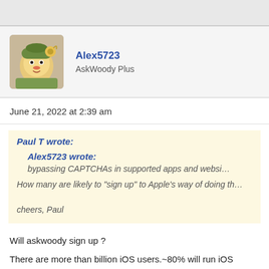[Figure (photo): Avatar image of a cartoon gnome/elf character with a bird, styled as a profile picture]
Alex5723
AskWoody Plus
June 21, 2022 at 2:39 am
Paul T wrote:
Alex5723 wrote:
bypassing CAPTCHAs in supported apps and websi...
How many are likely to "sign up" to Apple's way of doing th...
cheers, Paul
Will askwoody sign up ?
There are more than billion iOS users.~80% will run iOS 16/iPad...